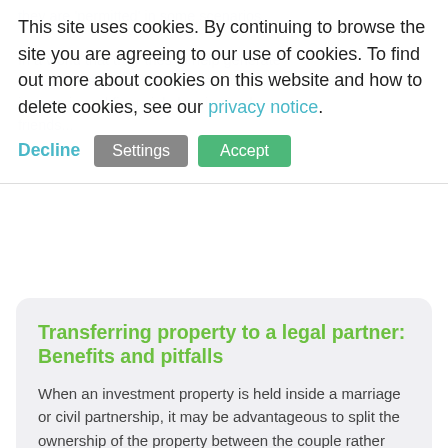they are 'permitted' in some scenarios... [background text, partially obscured]
This site uses cookies. By continuing to browse the site you are agreeing to our use of cookies. To find out more about cookies on this website and how to delete cookies, see our privacy notice.
Decline | Settings | Accept
Transferring property to a legal partner: Benefits and pitfalls
When an investment property is held inside a marriage or civil partnership, it may be advantageous to split the ownership of the property between the couple rather than one individual owning and being taxed on all of it.